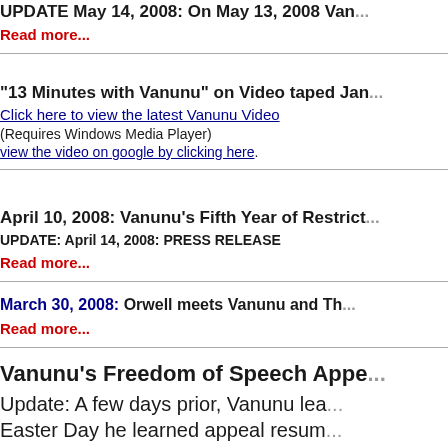UPDATE May 14, 2008: On May 13, 2008 Van...
Read more...
"13 Minutes with Vanunu" on Video taped Jan...
Click here to view the latest Vanunu Video
(Requires Windows Media Player)
view the video on google by clicking here.
April 10, 2008: Vanunu's Fifth Year of Restrict...
UPDATE: April 14, 2008: PRESS RELEASE
Read more...
March 30, 2008: Orwell meets Vanunu and Th...
Read more...
Vanunu's Freedom of Speech Appe...
Update: A few days prior, Vanunu lea... Easter Day he learned appeal resum...
After a year and a half long FREEDOM of Speech... whistle blower of Israel's WMD program, Mordec... on him in 2004. Since his release from Ashkelon P... the state and has forbidden him to speak to foreig... and a day before Vanunu's appeal was to begin, Is...